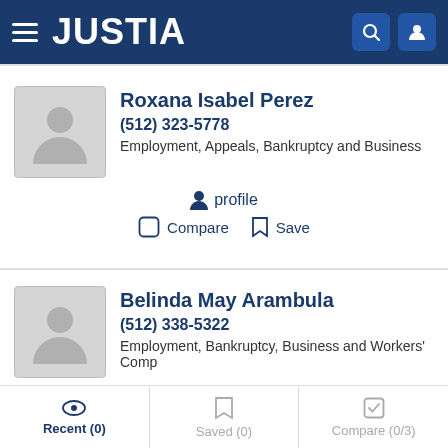[Figure (screenshot): Justia website header with hamburger menu, Justia logo, search icon, and user icon on dark blue background]
Roxana Isabel Perez
(512) 323-5778
Employment, Appeals, Bankruptcy and Business
profile
Compare   Save
Belinda May Arambula
(512) 338-5322
Employment, Bankruptcy, Business and Workers' Comp
profile
Recent (0)   Saved (0)   Compare (0/3)